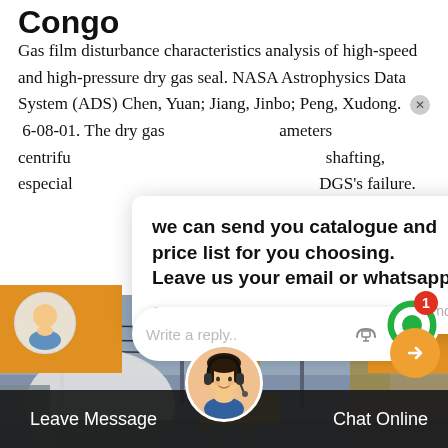Congo
Gas film disturbance characteristics analysis of high-speed and high-pressure dry gas seal. NASA Astrophysics Data System (ADS) Chen, Yuan; Jiang, Jinbo; Peng, Xudong.  × 6-08-01. The dry gas  ameters centrifu  shafting, especial  DGS's failure.
[Figure (screenshot): Chat popup overlay with message: 'we can send you catalogue and price list for you choosing. Leave us your email or whatsapp.' From SF6 Expert, just now.]
[Figure (screenshot): Reply input box with placeholder 'Write a reply..' and thumbs-up and paperclip icons]
[Figure (photo): Industrial/engineering background photo showing power equipment, towers and infrastructure]
[Figure (screenshot): Bottom navigation bar with 'Leave Message' and 'Chat Online' buttons, customer service avatar in center]
[Figure (screenshot): Green notification bubble with number 1 badge in top right]